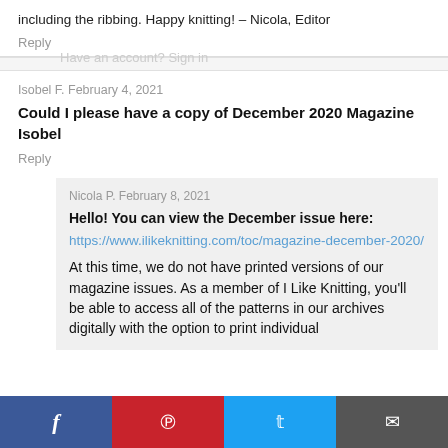including the ribbing. Happy knitting! – Nicola, Editor
Reply
Have an account? Sign in
Isobel F. February 4, 2021
Could I please have a copy of December 2020 Magazine Isobel
Reply
Nicola P. February 8, 2021
Hello! You can view the December issue here: https://www.ilikeknitting.com/toc/magazine-december-2020/
At this time, we do not have printed versions of our magazine issues. As a member of I Like Knitting, you'll be able to access all of the patterns in our archives digitally with the option to print individual